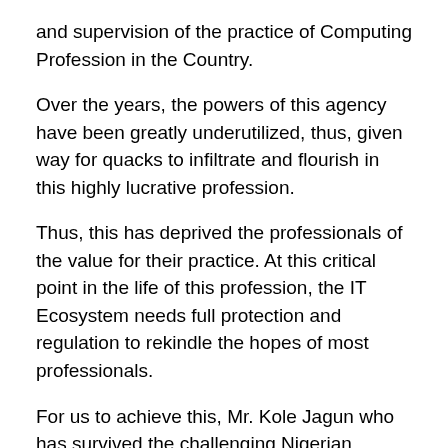and supervision of the practice of Computing Profession in the Country.
Over the years, the powers of this agency have been greatly underutilized, thus, given way for quacks to infiltrate and flourish in this highly lucrative profession.
Thus, this has deprived the professionals of the value for their practice. At this critical point in the life of this profession, the IT Ecosystem needs full protection and regulation to rekindle the hopes of most professionals.
For us to achieve this, Mr. Kole Jagun who has survived the challenging Nigerian business environment over the years presented himself to lead CPN.
Among the points in his manifestoes are;
To continue with the good works and policies